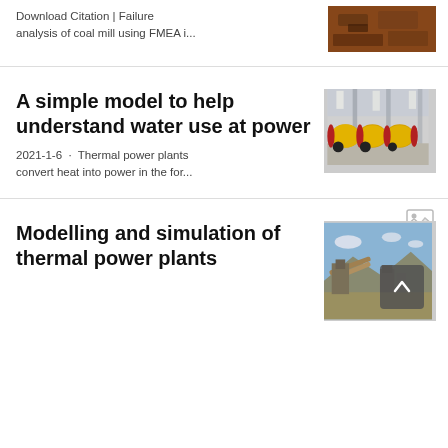Download Citation | Failure analysis of coal mill using FMEA i...
Download Citation | Failure analysis of coal mill using FMEA i...
[Figure (photo): Photo of coal or mining material, dark reddish-brown surface]
A simple model to help understand water use at power
2021-1-6 · Thermal power plants convert heat into power in the for...
[Figure (photo): Interior of industrial facility with large yellow cylindrical ball mills lined up]
Modelling and simulation of thermal power plants
[Figure (photo): Outdoor industrial plant with conveyor belts and equipment against blue sky]